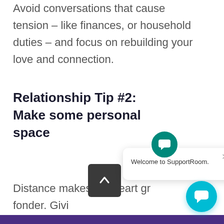Avoid conversations that cause tension – like finances, or household duties – and focus on rebuilding your love and connection.
Relationship Tip #2: Make some personal space
Distance makes the heart grow fonder. Giving personal space for refreshing strained relationships. Continually texting and messaging each
[Figure (screenshot): SupportRoom chat widget overlay with teal icon bubble and popup card saying 'Welcome to SupportRoom.' with a close (X) button]
[Figure (screenshot): Dark grey scroll-to-top button with upward chevron arrow]
[Figure (screenshot): Teal circular chat button in the bottom right corner]